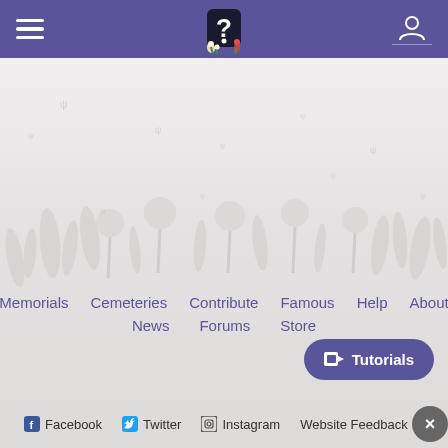[Figure (screenshot): Website navigation menu page for Find A Grave or similar memorial website. Purple header with hamburger menu, logo with question mark and flowers, user icon. Background with nature/flower silhouettes and butterflies. Navigation links: Memorials, Cemeteries, Contribute, Famous, Help, About, News, Forums, Store. Tutorials button. Social media links: Facebook, Twitter, Instagram, Website Feedback. Close button.]